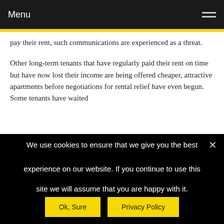Menu
pay their rent, such communications are experienced as a threat.
Other long-term tenants that have regularly paid their rent on time but have now lost their income are being offered cheaper, attractive apartments before negotiations for rental relief have even begun. Some tenants have waited
We use cookies to ensure that we give you the best experience on our website. If you continue to use this site we will assume that you are happy with it.
Ok, Sure
Privacy Policy